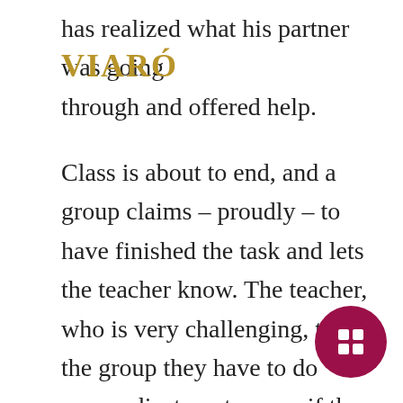has realized what his partner was going through and offered help.
[Figure (logo): VIARÓ logo in gold/brown serif text]
Class is about to end, and a group claims – proudly – to have finished the task and lets the teacher know. The teacher, who is very challenging, tells the group they have to do some adjustments, even if they thought they had done everything perfect. This group will have to be flexible and change in the next lesson what they thought was right, instead of starting straight away with the next